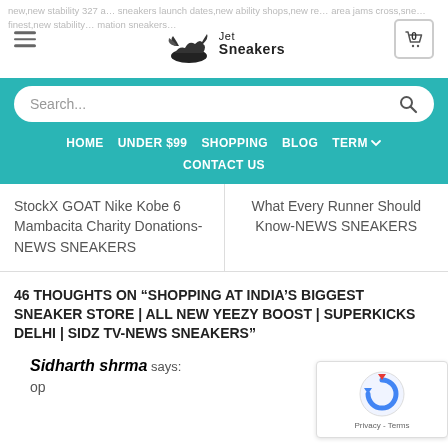new,new stability 327 a… sneakers launch dates,new ability shops,new rel… area jams cross,sne… finest,new stability… mation sneakers…
[Figure (logo): Jet Sneakers logo with winged sneaker icon and text 'Jet Sneakers']
Search...
HOME
UNDER $99
SHOPPING
BLOG
TERM
CONTACT US
StockX GOAT Nike Kobe 6 Mambacita Charity Donations-NEWS SNEAKERS
What Every Runner Should Know-NEWS SNEAKERS
46 THOUGHTS ON “SHOPPING AT INDIA’S BIGGEST SNEAKER STORE | ALL NEW YEEZY BOOST | SUPERKICKS DELHI | SIDZ TV-NEWS SNEAKERS”
Sidharth shrma says: op